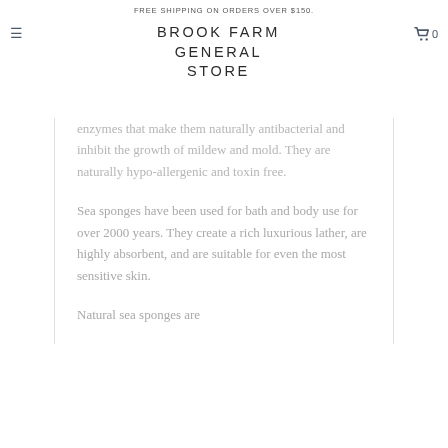FREE SHIPPING ON ORDERS OVER $150.
BROOK FARM GENERAL STORE
enzymes that make them naturally antibacterial and inhibit the growth of mildew and mold. They are naturally hypo-allergenic and toxin free.
Sea sponges have been used for bath and body use for over 2000 years. They create a rich luxurious lather, are highly absorbent, and are suitable for even the most sensitive skin.
Natural sea sponges are